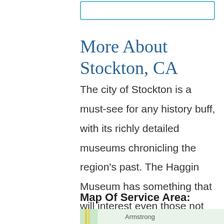[Figure (other): Empty input box with teal/blue border at top of page]
More About Stockton, CA
The city of Stockton is a must-see for any history buff, with its richly detailed museums chronicling the region's past. The Haggin Museum has something that will interest even those not specifically interested in art or local alumni. The city also has countless other activities to explore.
Map Of Service Area:
[Figure (map): Partial map showing street layout near Armstrong area in Stockton, CA]